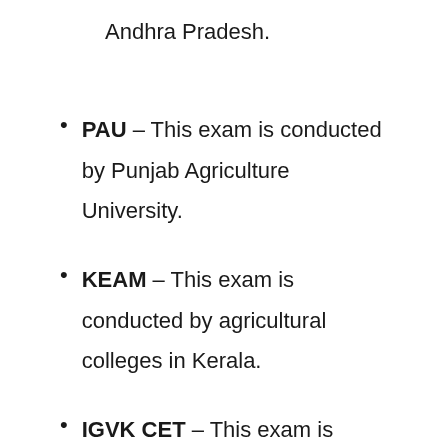Andhra Pradesh.
PAU – This exam is conducted by Punjab Agriculture University.
KEAM – This exam is conducted by agricultural colleges in Kerala.
IGVK CET – This exam is conducted by Indira Gandhi